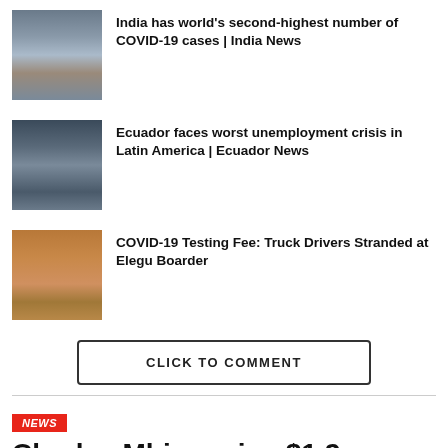[Figure (photo): Photo related to India COVID-19 news story]
India has world's second-highest number of COVID-19 cases | India News
[Figure (photo): Photo related to Ecuador unemployment crisis news story]
Ecuador faces worst unemployment crisis in Latin America | Ecuador News
[Figure (photo): Photo of a person in white uniform related to COVID-19 testing fee story]
COVID-19 Testing Fee: Truck Drivers Stranded at Elegu Boarder
CLICK TO COMMENT
NEWS
Charles Mbire gains $1.2 million as